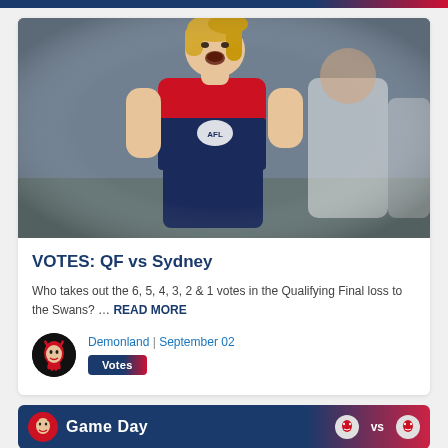[Figure (photo): AFL player wearing red and navy Melbourne Demons guernsey with AFL logo, celebrating with mouth open, blond hair, crowd in background]
VOTES: QF vs Sydney
Who takes out the 6, 5, 4, 3, 2 & 1 votes in the Qualifying Final loss to the Swans? … READ MORE
Demonland | September 02
Votes
Game Day vs